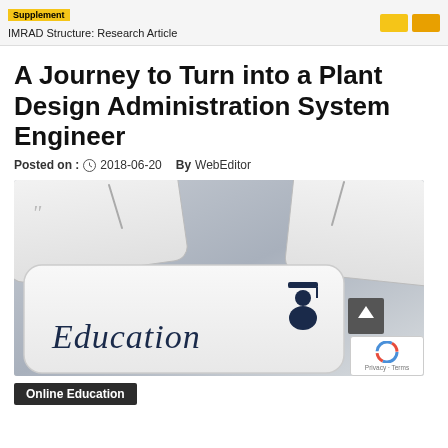Supplement | IMRAD Structure: Research Article
A Journey to Turn into a Plant Design Administration System Engineer
Posted on : 2018-06-20   By WebEditor
[Figure (photo): Close-up photo of a keyboard key labeled 'Education' with a graduation figure icon, surrounded by other white keyboard keys.]
Online Education